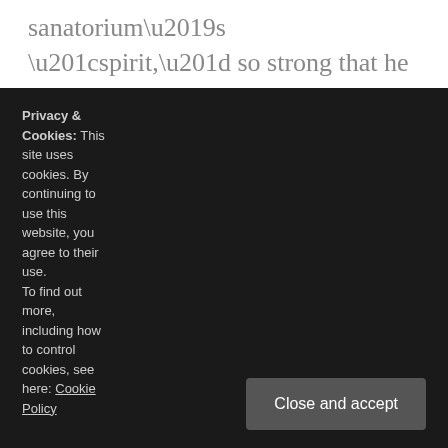sanatorium's “spirit,” so strong that he literally has to flee in the night. But even after “a stay of only eight days,” Castorp thinks, “everything down in the flatlands would seem totally false, unnatural, and wrong for a good while…”
For next week: Read to section “A
Privacy & Cookies: This site uses cookies. By continuing to use this website, you agree to their use.
To find out more, including how to control cookies, see here: Cookie Policy